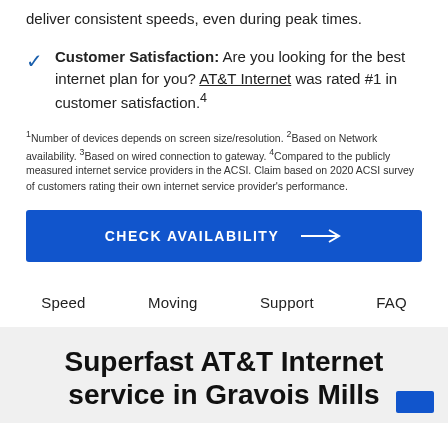deliver consistent speeds, even during peak times.
Customer Satisfaction: Are you looking for the best internet plan for you? AT&T Internet was rated #1 in customer satisfaction.⁴
¹Number of devices depends on screen size/resolution. ²Based on Network availability. ³Based on wired connection to gateway. ⁴Compared to the publicly measured internet service providers in the ACSI. Claim based on 2020 ACSI survey of customers rating their own internet service provider's performance.
CHECK AVAILABILITY →
Speed   Moving   Support   FAQ
Superfast AT&T Internet service in Gravois Mills